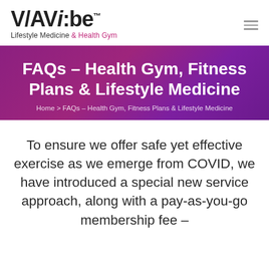VIAVI:be™ Lifestyle Medicine & Health Gym
FAQs – Health Gym, Fitness Plans & Lifestyle Medicine
Home > FAQs – Health Gym, Fitness Plans & Lifestyle Medicine
To ensure we offer safe yet effective exercise as we emerge from COVID, we have introduced a special new service approach, along with a pay-as-you-go membership fee –